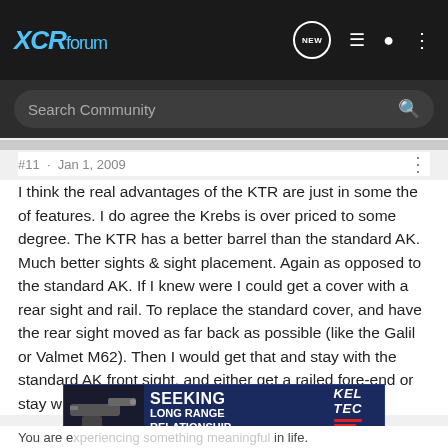XCRforum
Search Community
#11 · Jan 1, 2009
I think the real advantages of the KTR are just in some the of features. I do agree the Krebs is over priced to some degree. The KTR has a better barrel than the standard AK. Much better sights & sight placement. Again as opposed to the standard AK. If I knew were I could get a cover with a rear sight and rail. To replace the standard cover, and have the rear sight moved as far back as possible (like the Galil or Valmet M62). Then I would get that and stay with the standard AK front sight, and either get a railed fore-end or stay with the wood fore-end.
[Figure (advertisement): Kel-Tec CP33 pistol advertisement: SEEKING LONG RANGE RELATIONSHIP]
You are e... in life.